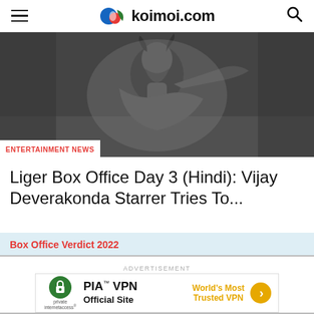koimoi.com
[Figure (photo): Black and white dramatic photo of a muscular fighter/boxer with beard, shirtless, in an intense pose]
ENTERTAINMENT NEWS
Liger Box Office Day 3 (Hindi): Vijay Deverakonda Starrer Tries To...
Box Office Verdict 2022
ADVERTISEMENT
[Figure (other): PIA VPN advertisement banner with Private Internet Access logo, 'PIA TM VPN Official Site', 'World's Most Trusted VPN' text, and orange arrow button]